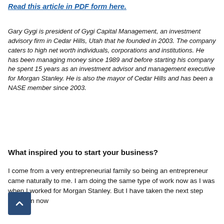Read this article in PDF form here.
Gary Gygi is president of Gygi Capital Management, an investment advisory firm in Cedar Hills, Utah that he founded in 2003. The company caters to high net worth individuals, corporations and institutions. He has been managing money since 1989 and before starting his company he spent 15 years as an investment advisor and management executive for Morgan Stanley. He is also the mayor of Cedar Hills and has been a NASE member since 2003.
What inspired you to start your business?
I come from a very entrepreneurial family so being an entrepreneur came naturally to me. I am doing the same type of work now as I was when I worked for Morgan Stanley. But I have taken the next step and I am now...